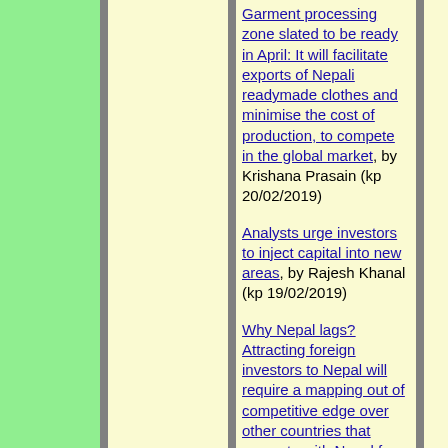Garment processing zone slated to be ready in April: It will facilitate exports of Nepali readymade clothes and minimise the cost of production, to compete in the global market, by Krishana Prasain (kp 20/02/2019)
Analysts urge investors to inject capital into new areas, by Rajesh Khanal (kp 19/02/2019)
Why Nepal lags? Attracting foreign investors to Nepal will require a mapping out of competitive edge over other countries that compete with Nepal for the foreign money, by Sukhdev Shah (rep 19/02/2019)
Lost in the cliché: The Nepali advertising industry must learn from the greats,